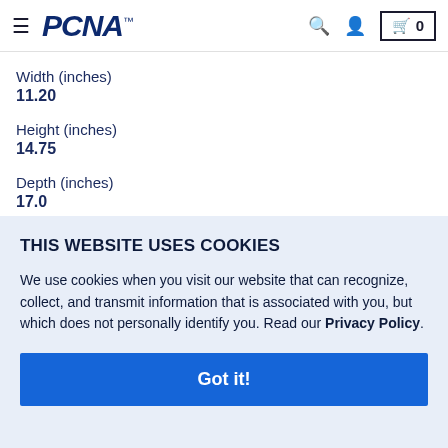[Figure (logo): PCNA logo with hamburger menu icon on left and search, user, and cart icons on right]
Width (inches)
11.20
Height (inches)
14.75
Depth (inches)
17.0[truncated]
THIS WEBSITE USES COOKIES
We use cookies when you visit our website that can recognize, collect, and transmit information that is associated with you, but which does not personally identify you. Read our Privacy Policy.
Got it!